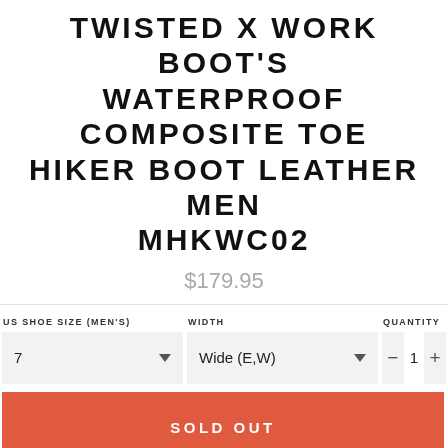TWISTED X WORK BOOT'S WATERPROOF COMPOSITE TOE HIKER BOOT LEATHER MEN MHKWC02
$179.95
US SHOE SIZE (MEN'S): 7 | WIDTH: Wide (E,W) | QUANTITY: 1
SOLD OUT